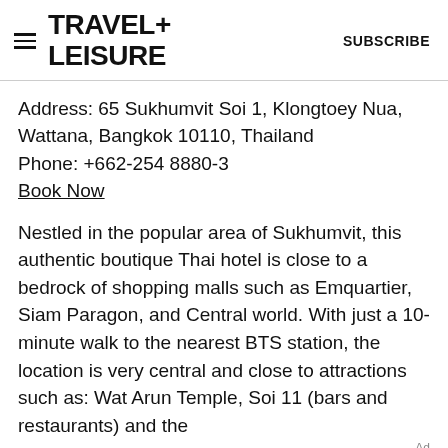TRAVEL+ LEISURE   SUBSCRIBE
Address: 65 Sukhumvit Soi 1, Klongtoey Nua, Wattana, Bangkok 10110, Thailand
Phone: +662-254 8880-3
Book Now
Nestled in the popular area of Sukhumvit, this authentic boutique Thai hotel is close to a bedrock of shopping malls such as Emquartier, Siam Paragon, and Central world. With just a 10-minute walk to the nearest BTS station, the location is very central and close to attractions such as: Wat Arun Temple, Soi 11 (bars and restaurants) and the
[Figure (other): Advertisement banner for Capital One Venture X credit card showing 'Venture X > CapitalOne' text with Capital One logo]